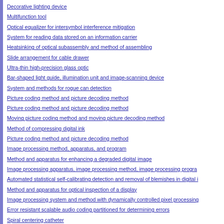Decorative lighting device
Multifunction tool
Optical equalizer for intersymbol interference mitigation
System for reading data stored on an information carrier
Heatsinking of optical subassembly and method of assembling
Slide arrangement for cable drawer
Ultra-thin high-precision glass optic
Bar-shaped light guide, illumination unit and image-scanning device
System and methods for rogue can detection
Picture coding method and picture decoding method
Picture coding method and picture decoding method
Moving picture coding method and moving picture decoding method
Method of compressing digital ink
Picture coding method and picture decoding method
Image processing method, apparatus, and program
Method and apparatus for enhancing a degraded digital image
Image processing apparatus, image processing method, image processing program
Automated statistical self-calibrating detection and removal of blemishes in digital i
Method and apparatus for optical inspection of a display
Image processing system and method with dynamically controlled pixel processing
Error resistant scalable audio coding partitioned for determining errors
Spiral centering catheter
Assistive communication device
Physician programmer system with telemetered sensor waveform
Compositions and methods for particulate consolidation
Mixed matrix membrane with mesoporous particles and methods for making and us
Polymerizable composition, photopolymerizing method and process for producing b
Thermoplastic foams made with methyl formate-based blowing agents
Photocurable compositions containing reactive particles
Cranial spinal column support assembly
MRI method for simultaneous phase contrast angiography and invasive device trac
Fishing weight for use with method feeder
Fishing reel
Tip rod
Clamp-on multi-purpose support plate
Lure organizing device
Ungulates produced by nuclear transfer of G1 cells
Fountain that flows with fluidic material